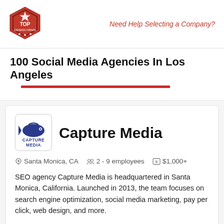Top Design Firms | Need Help Selecting a Company?
100 Social Media Agencies In Los Angeles
Capture Media
Santa Monica, CA   2 - 9 employees   $1,000+
SEO agency Capture Media is headquartered in Santa Monica, California. Launched in 2013, the team focuses on search engine optimization, social media marketing, pay per click, web design, and more.
SERVICES